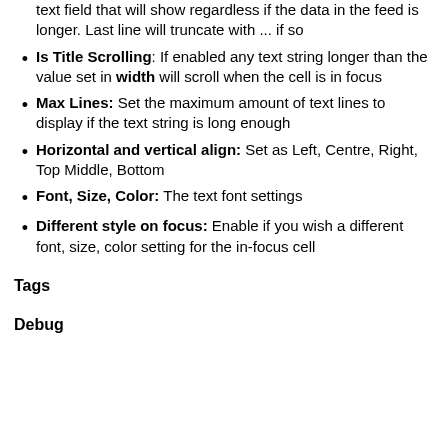text field that will show regardless if the data in the feed is longer. Last line will truncate with ... if so
Is Title Scrolling: If enabled any text string longer than the value set in width will scroll when the cell is in focus
Max Lines: Set the maximum amount of text lines to display if the text string is long enough
Horizontal and vertical align: Set as Left, Centre, Right, Top Middle, Bottom
Font, Size, Color: The text font settings
Different style on focus: Enable if you wish a different font, size, color setting for the in-focus cell
Tags
Debug